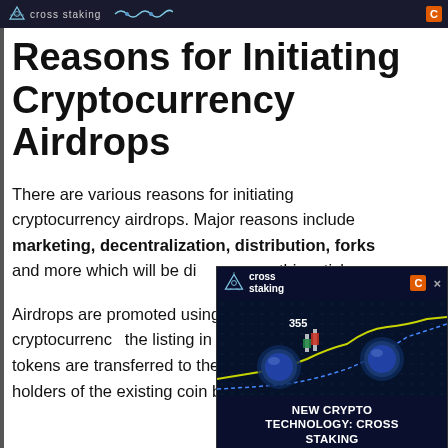cross staking [browser tab header]
Reasons for Initiating Cryptocurrency Airdrops
There are various reasons for initiating cryptocurrency airdrops. Major reasons include marketing, decentralization, distribution, forks and more which will be discussed in this article.
Airdrops are promoted using the website or other cryptocurrency the listing in on, the new coins or tokens are transferred to the wallets of eligible holders of the existing coin being airdropped.
[Figure (advertisement): Cross Staking advertisement overlay showing crypto coins with glowing chart lines, text reading NEW CRYPTO TECHNOLOGY: CROSS STAKING]